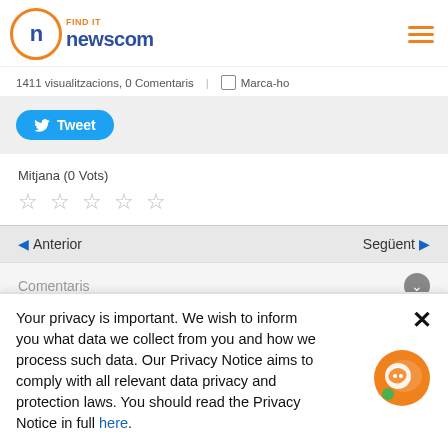Find it newscom
1411 visualitzacions, 0 Comentaris | Marca-ho
[Figure (screenshot): Twitter Tweet button (blue rounded button with bird icon)]
Mitjana (0 Vots)
[Figure (other): Five empty star rating icons]
Anterior | Següent
Comentaris
Your privacy is important. We wish to inform you what data we collect from you and how we process such data. Our Privacy Notice aims to comply with all relevant data privacy and protection laws. You should read the Privacy Notice in full here.